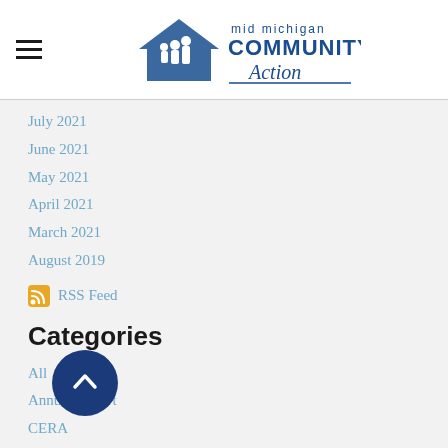mid michigan COMMUNITY Action
July 2021
June 2021
May 2021
April 2021
March 2021
August 2019
RSS Feed
Categories
All
Annual Report
CERA
Community Needs Assessment
Covid-19
CARES Emergency Rental Assistance
Donations